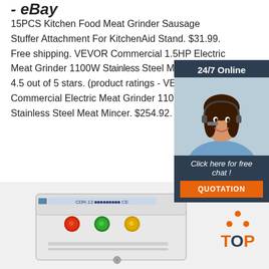- eBay
15PCS Kitchen Food Meat Grinder Sausage Stuffer Attachment For KitchenAid Stand. $31.99. Free shipping. VEVOR Commercial 1.5HP Electric Meat Grinder 1100W S... Steel Meat Mincer. 4.5 out of 5 stars. (... product ratings - VEVOR Commercial Electric Meat Grinder 1100W Stainless Steel Meat Mincer. $254.92.
[Figure (photo): Customer service representative woman with headset, part of a 24/7 Online chat widget with dark blue background]
[Figure (photo): Industrial meat grinder machine with control buttons (red, green, yellow) on a white body, shown from above at an angle]
[Figure (logo): TOP badge with orange dots arranged in triangle above the word TOP in orange letters]